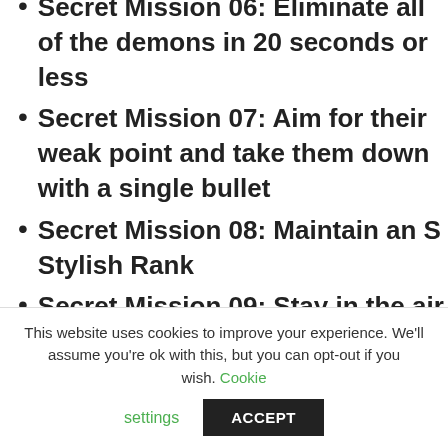Secret Mission 06: Eliminate all of the demons in 20 seconds or less
Secret Mission 07: Aim for their weak point and take them down with a single bullet
Secret Mission 08: Maintain an S Stylish Rank
Secret Mission 09: Stay in the air for more than 15 seconds
Secret Mission 10: Get to the goal
This website uses cookies to improve your experience. We'll assume you're ok with this, but you can opt-out if you wish. Cookie settings ACCEPT